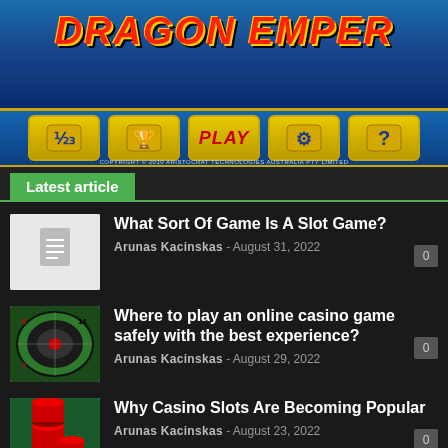[Figure (screenshot): Dragon Emperor slot game banner with blue background showing game title in red stylized text]
[Figure (screenshot): Navigation bar with gold buttons: leaderboard, trophy, PLAY, settings, help icons. Copyright Aristocrat Technologies Australia Pty Limited 2010]
Latest article
[Figure (photo): White placeholder image with document icon]
What Sort Of Game Is A Slot Game?
Arunas Kacinskas - August 31, 2022
[Figure (photo): Roulette wheel close-up photo]
Where to play an online casino game safely with the best experience?
Arunas Kacinskas - August 29, 2022
[Figure (photo): Red casino chips stacked on green felt table]
Why Casino Slots Are Becoming Popular
Arunas Kacinskas - August 23, 2022